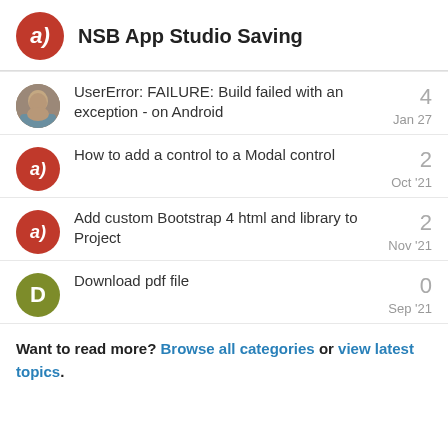NSB App Studio Saving
UserError: FAILURE: Build failed with an exception - on Android — 4 replies — Jan 27
How to add a control to a Modal control — 2 replies — Oct '21
Add custom Bootstrap 4 html and library to Project — 2 replies — Nov '21
Download pdf file — 0 replies — Sep '21
Want to read more? Browse all categories or view latest topics.